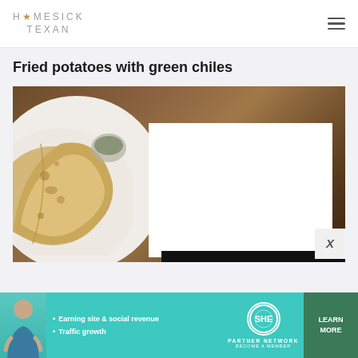HOMESICK TEXAN
Fried potatoes with green chiles
[Figure (photo): Food photo showing fried tortillas or flatbread on a white plate with a bowl of green chile sauce, partially obscured by a white overlay block]
[Figure (infographic): SHE Partner Network advertisement banner with text: Earning site & social revenue, Traffic growth, LEARN MORE, BECOME A MEMBER]